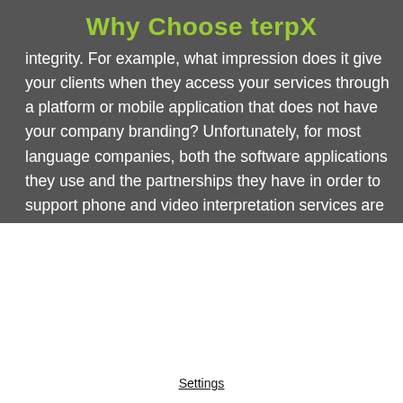Why Choose terpX
integrity. For example, what impression does it give your clients when they access your services through a platform or mobile application that does not have your company branding? Unfortunately, for most language companies, both the software applications they use and the partnerships they have in order to support phone and video interpretation services are structured in a way that causes brand confusion or limits
We use cookies on our website to collect information that improves your interaction with our website and enhances Volatia ad personalization off site. By accepting, you agree to our use of such cookies. Privacy Policy
Decline All
I Accept
Settings